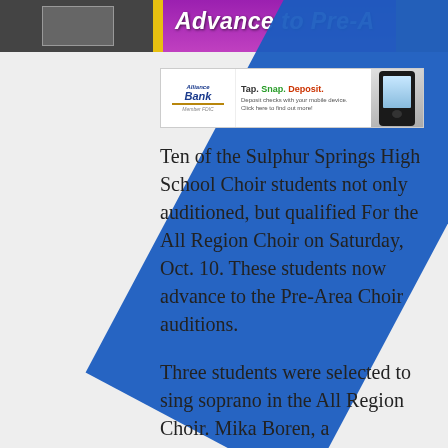Advance to Pre-Area Choir
[Figure (screenshot): Alliance Bank advertisement: Tap. Snap. Deposit. Deposit checks with your mobile device. Click here to find out more!]
Ten of the Sulphur Springs High School Choir students not only auditioned, but qualified For the All Region Choir on Saturday, Oct. 10. These students now advance to the Pre-Area Choir auditions.
Three students were selected to sing soprano in the All Region Choir. Mika Boren, a sophomore, was selected 10th chair Soprano 1. Freshman Karisma Stegient and junior Danielle Verlander